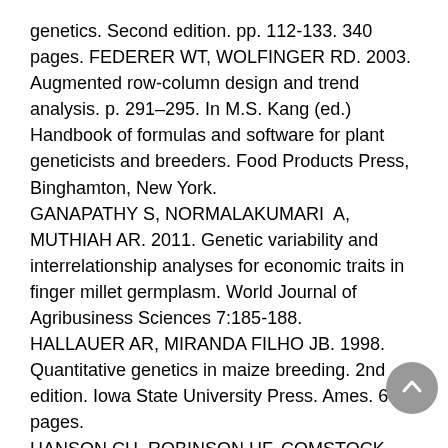genetics. Second edition. pp. 112-133. 340 pages. FEDERER WT, WOLFINGER RD. 2003. Augmented row-column design and trend analysis. p. 291–295. In M.S. Kang (ed.) Handbook of formulas and software for plant geneticists and breeders. Food Products Press, Binghamton, New York.
GANAPATHY S, NORMALAKUMARI  A, MUTHIAH AR. 2011. Genetic variability and interrelationship analyses for economic traits in finger millet germplasm. World Journal of Agribusiness Sciences 7:185-188.
HALLAUER AR, MIRANDA FILHO JB. 1998. Quantitative genetics in maize breeding. 2nd edition. Iowa State University Press. Ames. 664 pages.
HANSON CH, ROBINSON HF, COMSTOCK RE. 1956. Biometrical studies on yield in segregating populations of Korean lespedeza. Agronomy Journal 48:268-272.
IBPGR 1985. Descriptors for finger millet. Rome, Italy: International Board for Plant Genetic Resources.